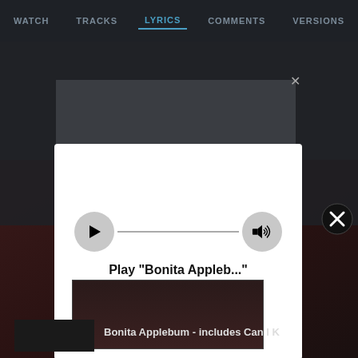WATCH  TRACKS  LYRICS  COMMENTS  VERSIONS
[Figure (screenshot): Apple Music embedded player modal showing Play 'Bonita Appleб...' on Apple Music with play button and volume control on a white popup over a dark music streaming app background]
Play "Bonita Appleb..."
on Apple Music
Bonita Applebum - includes Can I K